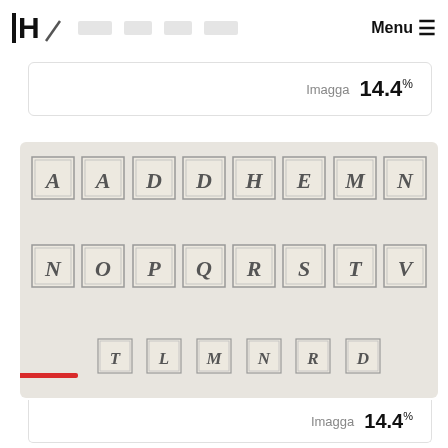H/ Menu ≡
Imagga 14.4%
[Figure (illustration): Grid of decorative ornamental letter tiles on beige background, showing letters: A, A, D, D, H, E, M, N (top row), N, O, P, Q, R, S, T, V (middle row), and partial bottom row of smaller tiles. A red progress bar appears at the bottom left.]
Imagga 14.4%